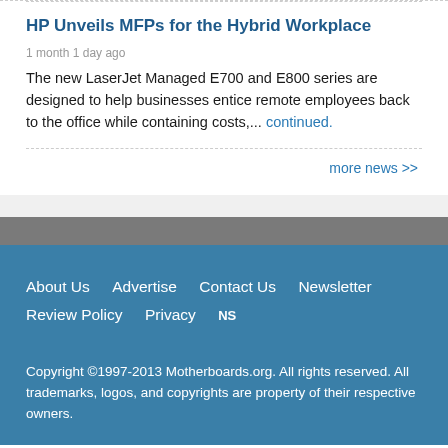HP Unveils MFPs for the Hybrid Workplace
1 month 1 day ago
The new LaserJet Managed E700 and E800 series are designed to help businesses entice remote employees back to the office while containing costs,... continued.
more news >>
About Us   Advertise   Contact Us   Newsletter   Review Policy   Privacy   NS
Copyright ©1997-2013 Motherboards.org. All rights reserved. All trademarks, logos, and copyrights are property of their respective owners.